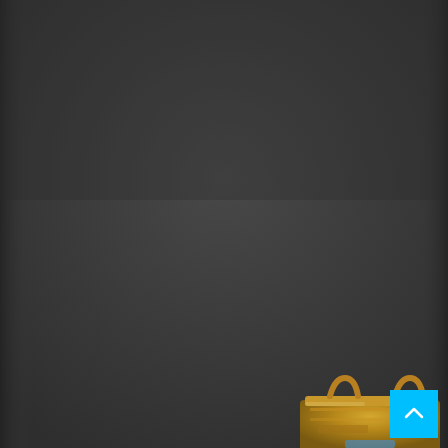[Figure (photo): A dark gray/charcoal background occupying most of the image. At the very bottom center, a partial view of a small metallic golden/bronze object (appears to be a piece of jewelry or hardware component) is visible. In the bottom-right corner there is a cyan/blue square scroll-to-top button with a white upward chevron arrow.]